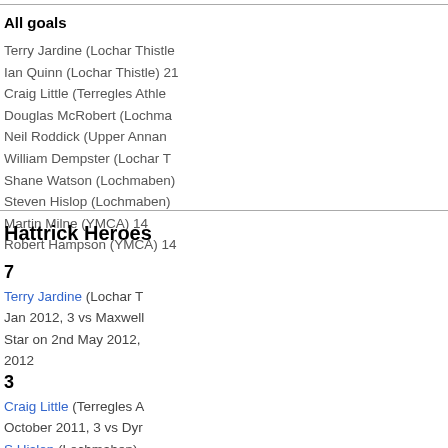All goals
Terry Jardine (Lochar Thistle)
Ian Quinn (Lochar Thistle) 21
Craig Little (Terregles Athletic)
Douglas McRobert (Lochmaben)
Neil Roddick (Upper Annandale)
William Dempster (Lochar Thistle)
Shane Watson (Lochmaben)
Steven Hislop (Lochmaben)
Martin Milne (YMCA) 14
Robert Hampson (YMCA) 14
Hattrick Heroes
7
Terry Jardine (Lochar Thistle) Jan 2012, 3 vs Maxwell Star on 2nd May 2012, 2012
3
Craig Little (Terregles Athletic) October 2011, 3 vs Dynamo S.Hislop (Lochmaben) - 3 vs Lochar Thistle 0n 7